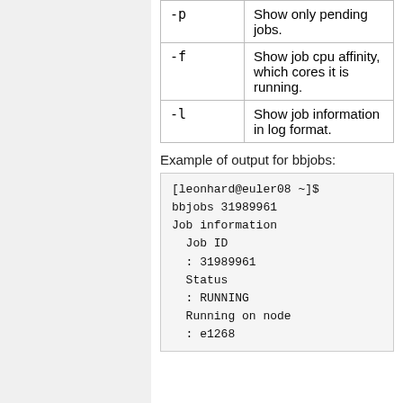| -p | Show only pending jobs. |
| -f | Show job cpu affinity, which cores it is running. |
| -l | Show job information in log format. |
Example of output for bbjobs:
[leonhard@euler08 ~]$
bbjobs 31989961
Job information
  Job ID
  : 31989961
  Status
  : RUNNING
  Running on node
  : e1268